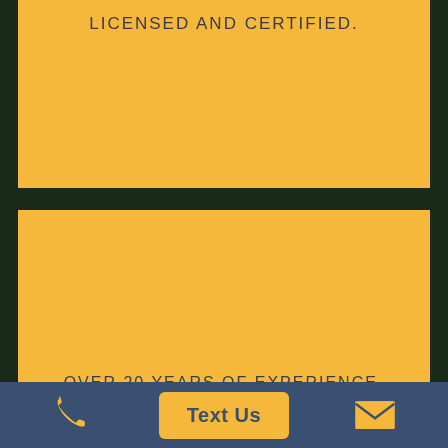LICENSED AND CERTIFIED.
[Figure (illustration): White rectangle icon (phone/device outline) on yellow background]
OVER 20 YEARS OF EXPERIENCE.
Phone icon | Text Us button | Email icon